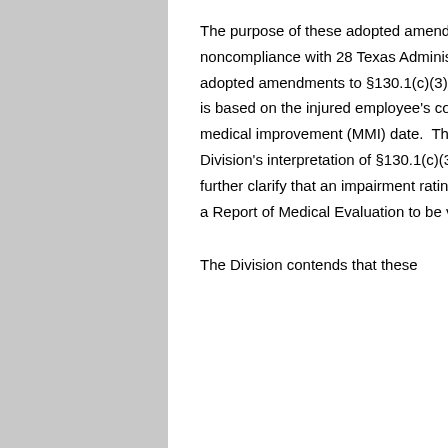The purpose of these adopted amendments is to clarify the consequence of noncompliance with 28 Texas Administrative Code (TAC) §130.1(c)(3). The adopted amendments to §130.1(c)(3) clarify that an impairment rating is invalid if it is based on the injured employee's condition on a date that is not the maximum medical improvement (MMI) date. The adopted amendments reiterate the Division's interpretation of §130.1(c)(3) since 2004. These adopted amendments further clarify that an impairment rating and its corresponding MMI date must be on a Report of Medical Evaluation to be valid.
The Division contends that these